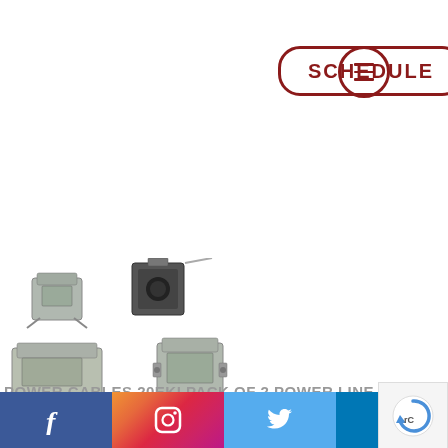[Figure (other): SCHEDULE button with dark red rounded rectangle border and hamburger menu icon in circle]
[Figure (photo): Multiple small electronic power line filter components, metallic grey, with connectors and wires]
POWER CABLES 20EKI PACK OF 2 POWER LINE FILTERS 20A FASTON-FASTN1/4 FLANGE MOUNT. ADVANCEDATHLETESPERFORMANCE.COM.A
[Figure (other): reCAPTCHA logo badge]
[Figure (other): Social media footer bar with Facebook, Instagram, Twitter, LinkedIn icons]